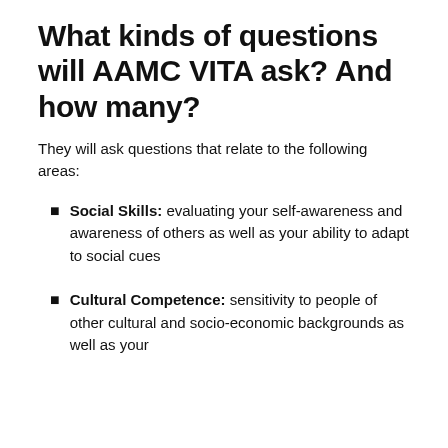What kinds of questions will AAMC VITA ask? And how many?
They will ask questions that relate to the following areas:
Social Skills: evaluating your self-awareness and awareness of others as well as your ability to adapt to social cues
Cultural Competence: sensitivity to people of other cultural and socio-economic backgrounds as well as your